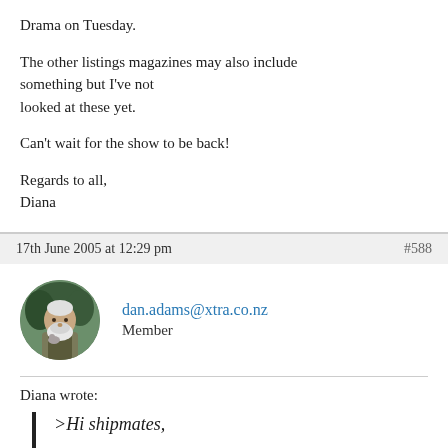Drama on Tuesday.
The other listings magazines may also include something but I've not looked at these yet.
Can't wait for the show to be back!
Regards to all,
Diana
17th June 2005 at 12:29 pm   #588
[Figure (photo): Circular avatar photo of an elderly man with a white beard, outdoors, wearing a vest]
dan.adams@xtra.co.nz
Member
Diana wrote:
>Hi shipmates,
>
>For those of you who live in the UK and others able to obtain the